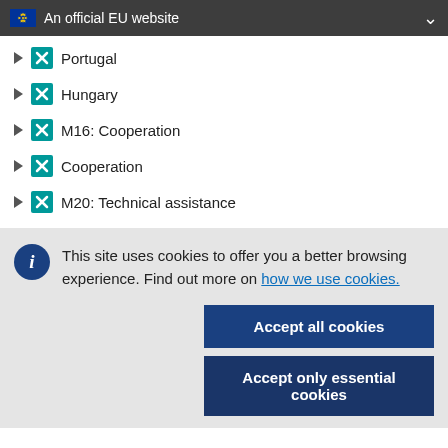An official EU website
Portugal
Hungary
M16: Cooperation
Cooperation
M20: Technical assistance
This site uses cookies to offer you a better browsing experience. Find out more on how we use cookies.
Accept all cookies
Accept only essential cookies